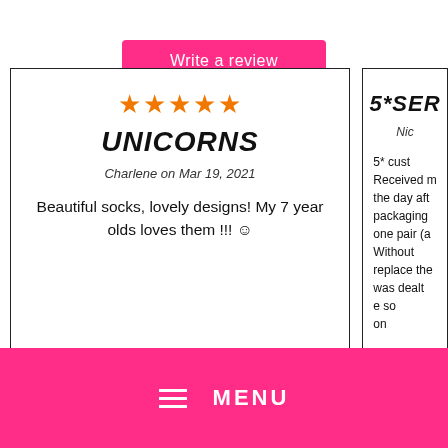Write a review
★★★★★ UNICORNS Charlene on Mar 19, 2021 Beautiful socks, lovely designs! My 7 year olds loves them !!! ☺ Report as Inappropriate
5*SER... Nic... 5* cust... Received m... the day aft... packaging... one pair (a... Without ... replace the... was dealt... e so... on...
MENU